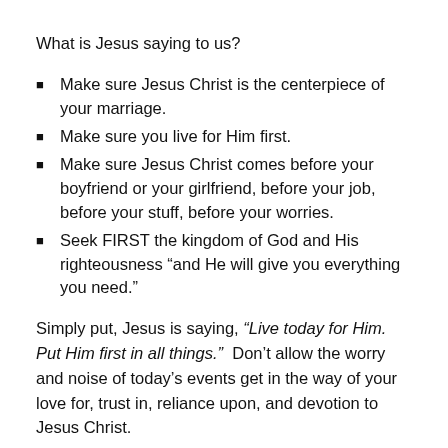What is Jesus saying to us?
Make sure Jesus Christ is the centerpiece of your marriage.
Make sure you live for Him first.
Make sure Jesus Christ comes before your boyfriend or your girlfriend, before your job, before your stuff, before your worries.
Seek FIRST the kingdom of God and His righteousness “and He will give you everything you need.”
Simply put, Jesus is saying, “Live today for Him. Put Him first in all things.” Don’t allow the worry and noise of today’s events get in the way of your love for, trust in, reliance upon, and devotion to Jesus Christ.
Leave Tomorrow To Him